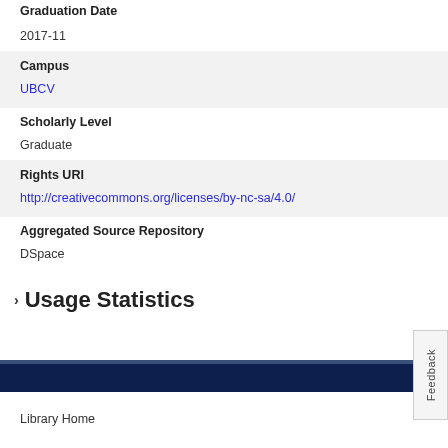Graduation Date
2017-11
Campus
UBCV
Scholarly Level
Graduate
Rights URI
http://creativecommons.org/licenses/by-nc-sa/4.0/
Aggregated Source Repository
DSpace
Usage Statistics
Library Home